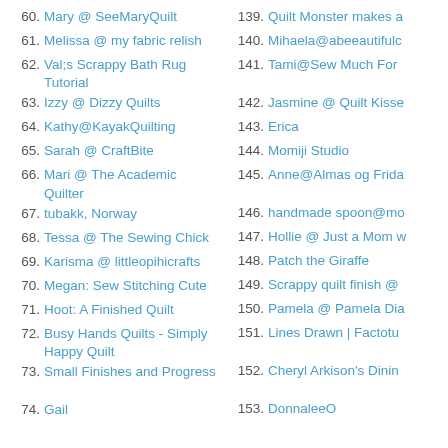60. Mary @ SeeMaryQuilt
61. Melissa @ my fabric relish
62. Val;s Scrappy Bath Rug Tutorial
63. Izzy @ Dizzy Quilts
64. Kathy@KayakQuilting
65. Sarah @ CraftBite
66. Mari @ The Academic Quilter
67. tubakk, Norway
68. Tessa @ The Sewing Chick
69. Karisma @ littleopihicrafts
70. Megan: Sew Stitching Cute
71. Hoot: A Finished Quilt
72. Busy Hands Quilts - Simply Happy Quilt
73. Small Finishes and Progress
74. Gail
139. Quilt Monster makes a
140. Mihaela@abeeautifulc
141. Tami@Sew Much For
142. Jasmine @ Quilt Kisse
143. Erica
144. Momiji Studio
145. Anne@Almas og Frida
146. handmade spoon@mo
147. Hollie @ Just a Mom w
148. Patch the Giraffe
149. Scrappy quilt finish @
150. Pamela @ Pamela Dia
151. Lines Drawn | Factotu
152. Cheryl Arkison's Dinin
153. DonnaleeO